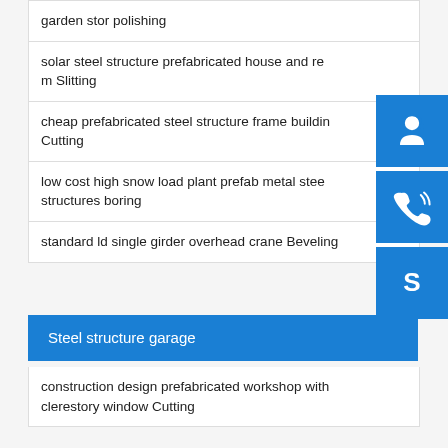garden stor polishing
solar steel structure prefabricated house and re... m Slitting
cheap prefabricated steel structure frame buildin... Cutting
low cost high snow load plant prefab metal stee... structures boring
standard ld single girder overhead crane Beveling
Steel structure garage
construction design prefabricated workshop with clerestory window Cutting